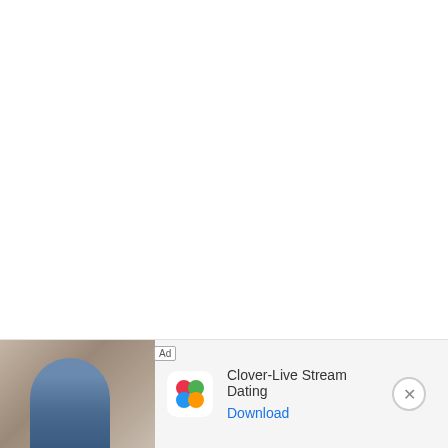They can last a few days longer if you don't wash them first before tossing them in the fridge.
[Figure (other): Advertisement banner for Clover-Live Stream Dating app. Shows a photo of a woman on the left, the Clover app icon (four-leaf clover with colored hearts) in the center, app name 'Clover-Live Stream Dating', a 'Download' link in blue, an 'Ad' label badge, and a close (X) button on the right.]